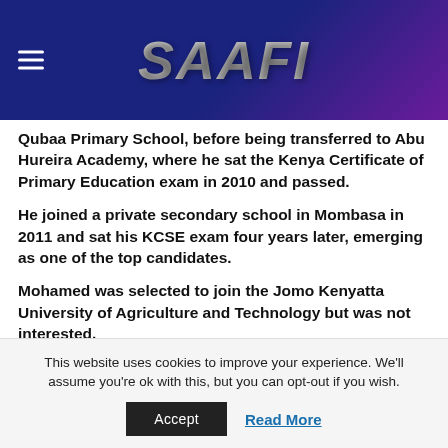SAAFI
Qubaa Primary School, before being transferred to Abu Hureira Academy, where he sat the Kenya Certificate of Primary Education exam in 2010 and passed.
He joined a private secondary school in Mombasa in 2011 and sat his KCSE exam four years later, emerging as one of the top candidates.
Mohamed was selected to join the Jomo Kenyatta University of Agriculture and Technology but was not interested.
This website uses cookies to improve your experience. We'll assume you're ok with this, but you can opt-out if you wish.
Accept
Read More